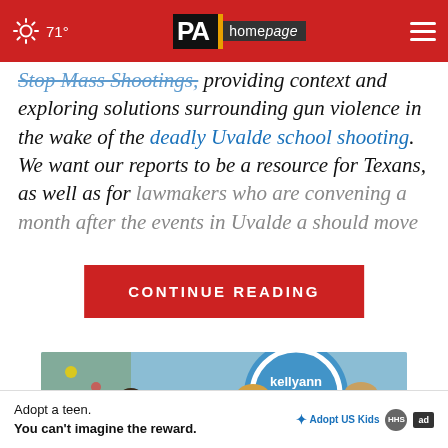71° PA homepage [navigation]
Stop Mass Shootings, providing context and exploring solutions surrounding gun violence in the wake of the deadly Uvalde school shooting. We want our reports to be a resource for Texans, as well as for lawmakers who are convening a month after the events in Uvalde [should move]
CONTINUE READING
[Figure (photo): Women appearing on a talk show set with a 'kellyann petrucci' blue circular logo backdrop, with a close (X) button overlay]
Adopt a teen. You can't imagine the reward. Adopt US Kids [ad]